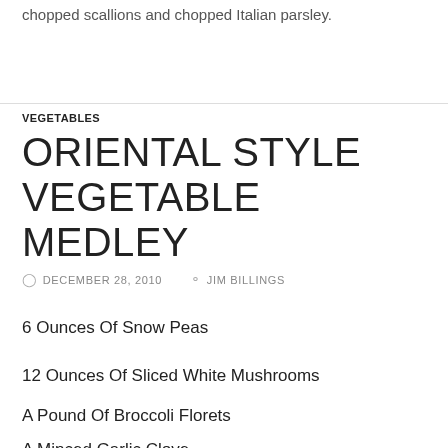chopped scallions and chopped Italian parsley.
VEGETABLES
ORIENTAL STYLE VEGETABLE MEDLEY
DECEMBER 28, 2010   JIM BILLINGS
6 Ounces Of Snow Peas
12 Ounces Of Sliced White Mushrooms
A Pound Of Broccoli Florets
A Minced Garlic Clove